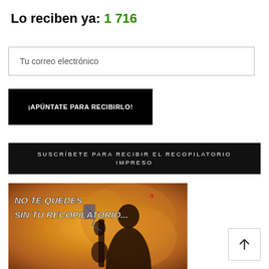Lo reciben ya: 1 716
Tu correo electrónico
¡APÚNTATE PARA RECIBIRLO!
SUSCRÍBETE PARA RECIBIR EL RECOPILATORIO IMPRESO
[Figure (illustration): Promotional image with orange/gold artistic background showing a silhouette figure and text overlay reading 'NO TE QUEDES SIN TU RECOPILATORIO...' with a small airplane icon]